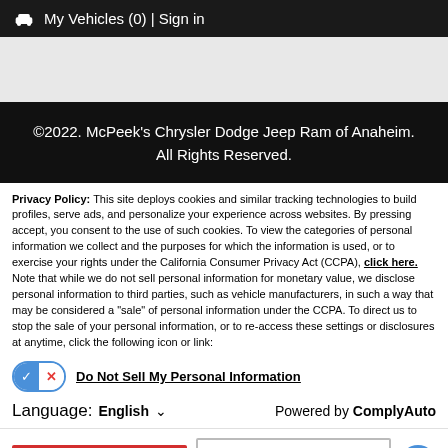🚗 My Vehicles (0) | Sign in
[Figure (screenshot): Gray placeholder area for content]
©2022. McPeek's Chrysler Dodge Jeep Ram of Anaheim. All Rights Reserved.
Privacy Policy: This site deploys cookies and similar tracking technologies to build profiles, serve ads, and personalize your experience across websites. By pressing accept, you consent to the use of such cookies. To view the categories of personal information we collect and the purposes for which the information is used, or to exercise your rights under the California Consumer Privacy Act (CCPA), click here. Note that while we do not sell personal information for monetary value, we disclose personal information to third parties, such as vehicle manufacturers, in such a way that may be considered a "sale" of personal information under the CCPA. To direct us to stop the sale of your personal information, or to re-access these settings or disclosures at anytime, click the following icon or link:
Do Not Sell My Personal Information
Language: English ∨    Powered by ComplyAuto
Accept and Continue →    California Privacy Disclosures